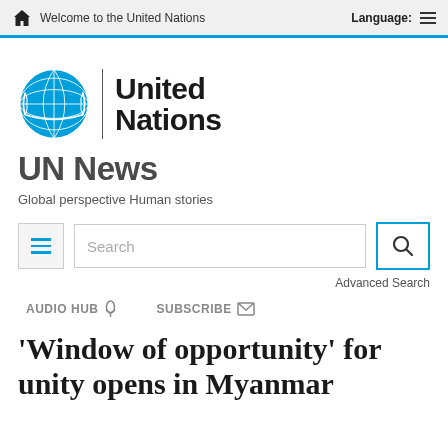Welcome to the United Nations | Language:
[Figure (logo): United Nations emblem logo in blue, with text 'United Nations' in bold black]
UN News
Global perspective Human stories
Search | Advanced Search
AUDIO HUB  SUBSCRIBE
'Window of opportunity' for unity opens in Myanmar